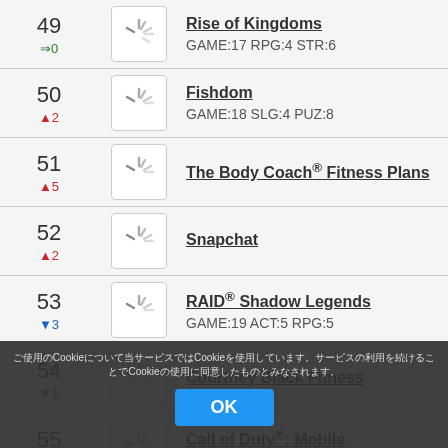| Rank | Icon | App Info |
| --- | --- | --- |
| 49 ⇒0 |  | Rise of Kingdoms
GAME:17 RPG:4 STR:6 |
| 50 ▲2 |  | Fishdom
GAME:18 SLG:4 PUZ:8 |
| 51 ▲5 |  | The Body Coach® Fitness Plans |
| 52 ▲2 |  | Snapchat |
| 53 ▼3 |  | RAID® Shadow Legends
GAME:19 ACT:5 RPG:5 |
| 54 ▼1 |  | Courtney Black Fitness |
| 55 ⇒0 |  | Call of Duty®: Mobile
GAME:20 A... |
| 56 |  | Marvel Contest of Champions |
Cookie notice overlay with OK button